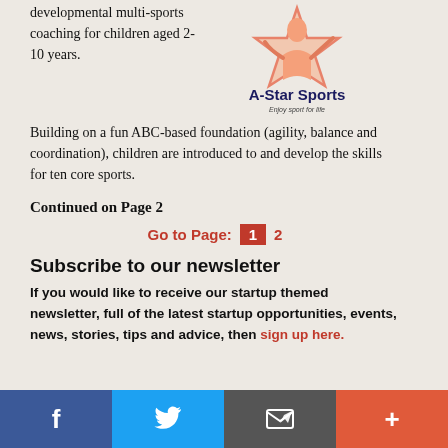developmental multi-sports coaching for children aged 2-10 years. Building on a fun ABC-based foundation (agility, balance and coordination), children are introduced to and develop the skills for ten core sports.
[Figure (logo): A-Star Sports logo with a star illustration and tagline 'Enjoy sport for life']
Continued on Page 2
Go to Page: 1 2
Subscribe to our newsletter
If you would like to receive our startup themed newsletter, full of the latest startup opportunities, events, news, stories, tips and advice, then sign up here.
Facebook Twitter Email Plus